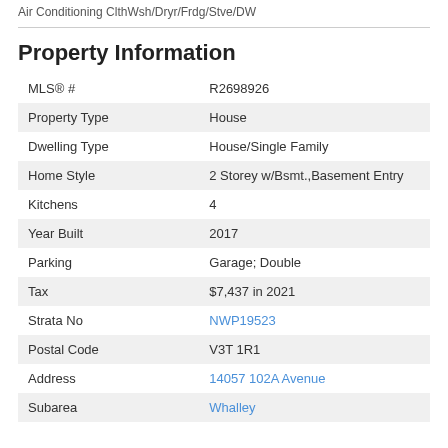Air Conditioning ClthWsh/Dryr/Frdg/Stve/DW
Property Information
| Field | Value |
| --- | --- |
| MLS® # | R2698926 |
| Property Type | House |
| Dwelling Type | House/Single Family |
| Home Style | 2 Storey w/Bsmt.,Basement Entry |
| Kitchens | 4 |
| Year Built | 2017 |
| Parking | Garage; Double |
| Tax | $7,437 in 2021 |
| Strata No | NWP19523 |
| Postal Code | V3T 1R1 |
| Address | 14057 102A Avenue |
| Subarea | Whalley |